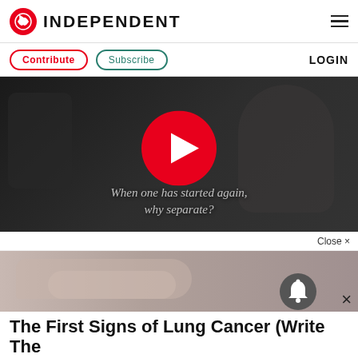INDEPENDENT
Contribute  Subscribe  LOGIN
[Figure (screenshot): Video player with play button overlay showing a black-and-white scene with subtitle text: 'When one has started again, why separate?']
Close ×
[Figure (photo): Close-up photo of hands on a bed, part of an ad]
The First Signs of Lung Cancer (Write The Down)